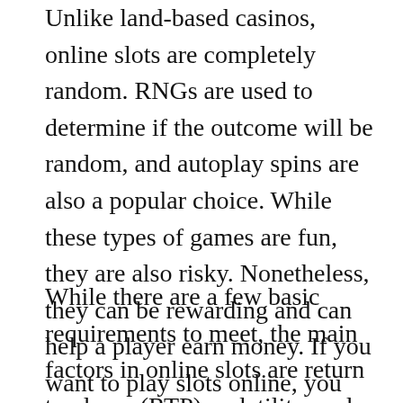Unlike land-based casinos, online slots are completely random. RNGs are used to determine if the outcome will be random, and autoplay spins are also a popular choice. While these types of games are fun, they are also risky. Nonetheless, they can be rewarding and can help a player earn money. If you want to play slots online, you should sign up for a PokerNews account and read the terms and conditions of the bonuses.
While there are a few basic requirements to meet, the main factors in online slots are return to player (RTP), volatility, and house edge. These are the main factors that determine the likelihood of winning and the risk of losing. When it comes to choosing an